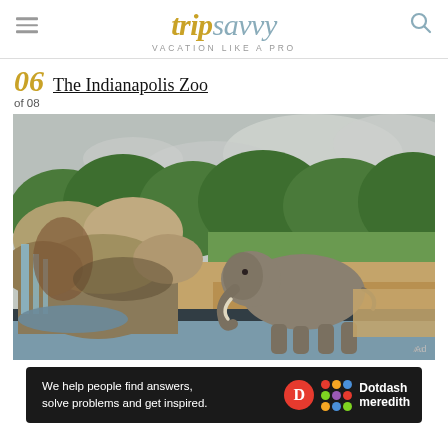tripsavvy — VACATION LIKE A PRO
06 The Indianapolis Zoo
of 08
[Figure (photo): An elephant standing near a rocky waterfall feature and a pool of water at the Indianapolis Zoo, with green trees and overcast sky in the background.]
[Figure (logo): Dotdash Meredith advertisement banner — 'We help people find answers, solve problems and get inspired.' with Dotdash Meredith logo.]